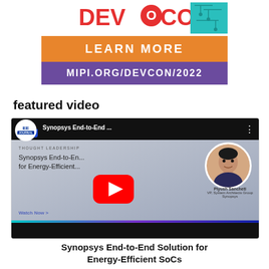[Figure (other): MIPI DevCon 2022 banner advertisement. Top section shows 'DEVCON' logo in red with circuit board teal graphic in corner. Orange box says 'LEARN MORE'. Purple box says 'MIPI.ORG/DEVCON/2022'.]
featured video
[Figure (screenshot): YouTube video thumbnail showing EE Journal logo, title 'Synopsys End-to-End...' in top bar. Content area shows 'THOUGHT LEADERSHIP', 'Synopsys End-to-En... for Energy-Efficient...' text. Red YouTube play button in center. Photo of Piyush Sancheti, VP System Architects Group, Synopsys on right. 'Watch Now >' link. Colorful progress bar and black strip at bottom.]
Synopsys End-to-End Solution for Energy-Efficient SoCs